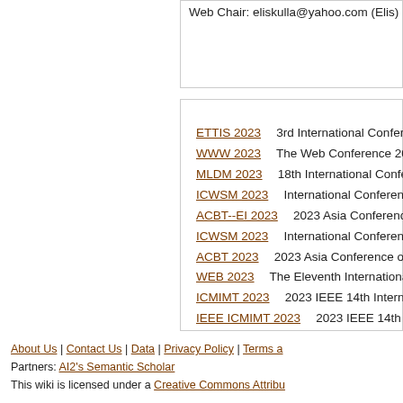Web Chair: eliskulla@yahoo.com (Elis)
ETTIS 2023   3rd International Conference
WWW 2023   The Web Conference 2023
MLDM 2023   18th International Conference
ICWSM 2023   International Conference o
ACBT--EI 2023   2023 Asia Conference on
ICWSM 2023   International Conference o
ACBT 2023   2023 Asia Conference on Bl
WEB 2023   The Eleventh International Co
ICMIMT 2023   2023 IEEE 14th Internatio
IEEE ICMIMT 2023   2023 IEEE 14th Inter 2023)
About Us | Contact Us | Data | Privacy Policy | Terms a
Partners: AI2's Semantic Scholar
This wiki is licensed under a Creative Commons Attribu